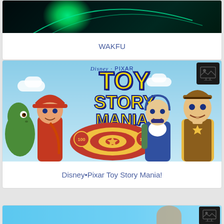[Figure (screenshot): Top portion of WAKFU app/game card showing dark teal background with green glowing element and curved line]
WAKFU
[Figure (screenshot): Disney·Pixar Toy Story Mania! game cover image showing characters Jessie, Rex, Buzz Lightyear, and Woody with yellow and blue Toy Story Mania logo on light blue background. Broken image icon in top-right corner.]
Disney•Pixar Toy Story Mania!
[Figure (screenshot): Partial view of a third card with light blue background and broken image icon in top-right corner]